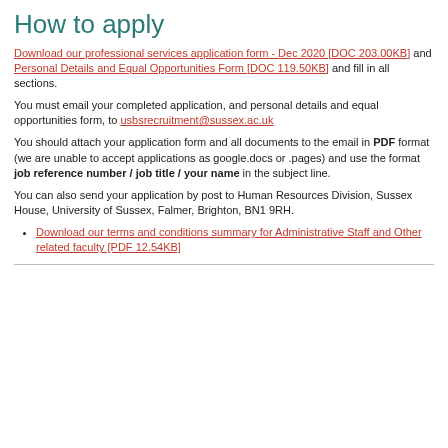How to apply
Download our professional services application form - Dec 2020 [DOC 203.00KB] and Personal Details and Equal Opportunities Form [DOC 119.50KB] and fill in all sections.
You must email your completed application, and personal details and equal opportunities form, to usbsrecruitment@sussex.ac.uk
You should attach your application form and all documents to the email in PDF format (we are unable to accept applications as google.docs or .pages) and use the format job reference number / job title / your name in the subject line.
You can also send your application by post to Human Resources Division, Sussex House, University of Sussex, Falmer, Brighton, BN1 9RH.
Download our terms and conditions summary for Administrative Staff and Other related faculty [PDF 12.54KB]